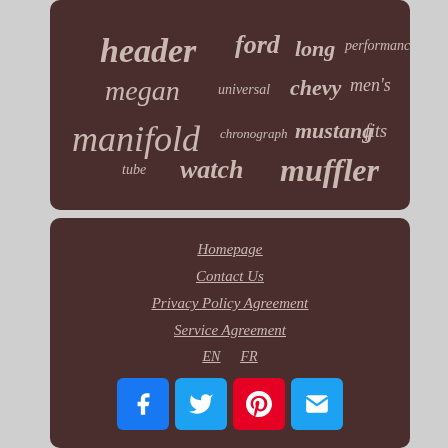[Figure (infographic): Tag cloud on dark brown background with automotive and fashion-related keywords in varying sizes: header, ford, long, performance, megan, universal, chevy, men's, manifold, chronograph, mustang, fits, tube, watch, muffler]
Homepage
Contact Us
Privacy Policy Agreement
Service Agreement
EN   FR
[Figure (infographic): Social media icon buttons: Facebook (blue), Twitter (blue), Pinterest (red), Email (blue)]